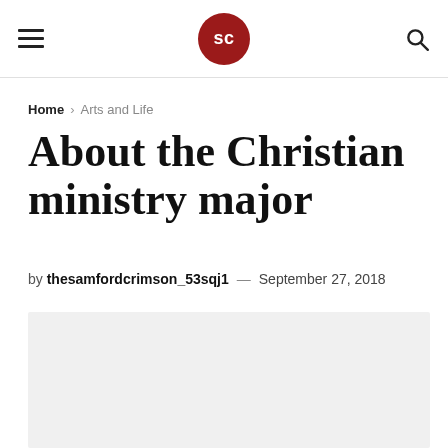SC (Samford Crimson logo) — hamburger menu, logo, search
Home › Arts and Life
About the Christian ministry major
by thesamfordcrimson_53sqj1 — September 27, 2018
[Figure (photo): Light grey image placeholder for article photo]